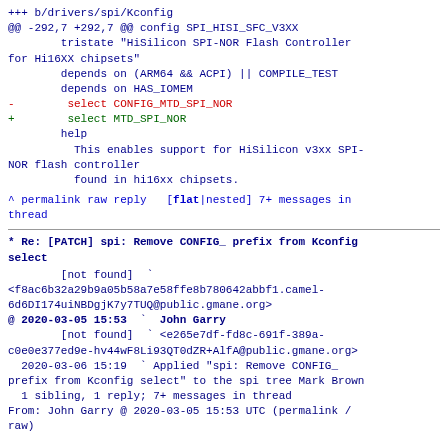+++ b/drivers/spi/Kconfig
@@ -292,7 +292,7 @@ config SPI_HISI_SFC_V3XX
        tristate "HiSilicon SPI-NOR Flash Controller for Hi16XX chipsets"
        depends on (ARM64 && ACPI) || COMPILE_TEST
        depends on HAS_IOMEM
-        select CONFIG_MTD_SPI_NOR
+        select MTD_SPI_NOR
        help
          This enables support for HiSilicon v3xx SPI-NOR flash controller
          found in hi16xx chipsets.
^ permalink raw reply  [flat|nested] 7+ messages in thread
* Re: [PATCH] spi: Remove CONFIG_ prefix from Kconfig select
[not found]  `
<f8ac6b32a29b9a05b58a7e58ffe8b780642abbf1.camel-6d6DI174uiNBDgjK7y7TUQ@public.gmane.org>
@ 2020-03-05 15:53  `  John Garry
        [not found]  ` <e265e7df-fd8c-691f-389a-c0e0e377ed9e-hv44wF8Li93QT0dZR+AlfA@public.gmane.org>
  2020-03-06 15:19  ` Applied "spi: Remove CONFIG_ prefix from Kconfig select" to the spi tree Mark Brown
  1 sibling, 1 reply; 7+ messages in thread
From: John Garry @ 2020-03-05 15:53 UTC (permalink / raw)